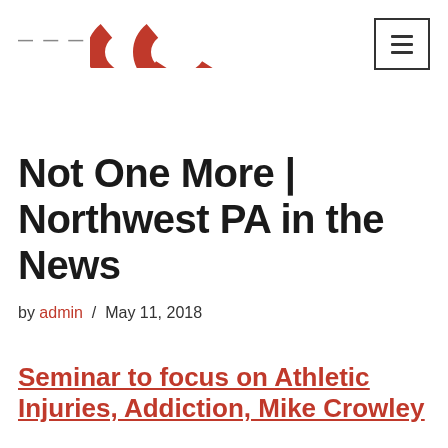Not One More logo header with navigation menu button
Not One More | Northwest PA in the News
by admin / May 11, 2018
Seminar to focus on Athletic Injuries, Addiction, Mike Crowley